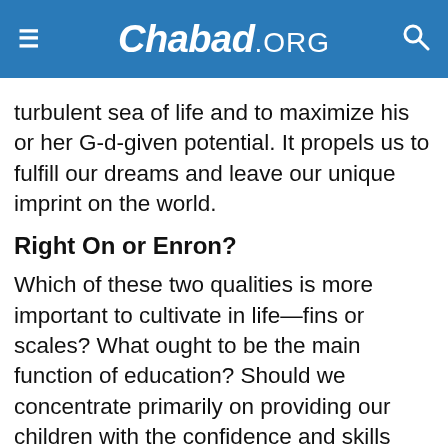Chabad.ORG
turbulent sea of life and to maximize his or her G-d-given potential. It propels us to fulfill our dreams and leave our unique imprint on the world.
Right On or Enron?
Which of these two qualities is more important to cultivate in life—fins or scales? What ought to be the main function of education? Should we concentrate primarily on providing our children with the confidence and skills necessary for them to become accomplished human beings? Or ought we to focus more on raising children with principles, teaching them that it is more important to do right than it is to do well? Are the two